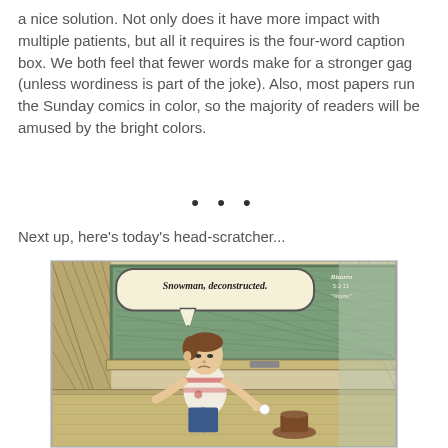a nice solution. Not only does it have more impact with multiple patients, but all it requires is the four-word caption box. We both feel that fewer words make for a stronger gag (unless wordiness is part of the joke). Also, most papers run the Sunday comics in color, so the majority of readers will be amused by the bright colors.
• • •
Next up, here's today's head-scratcher...
[Figure (illustration): A comic strip panel showing a boy standing in front of a chalkboard in a classroom. He has a speech bubble saying 'Snowman, deconstructed.' On the floor near him is a brown hat. The image has the signature/logo 'Bizarro 5-2-11 Wayno' in the upper right corner.]